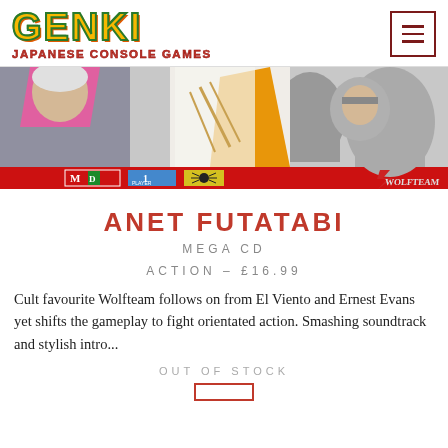[Figure (logo): Genki Japanese Console Games logo with stylized colorful text and hamburger menu icon]
[Figure (photo): Game box art for Anet Futatabi on Mega CD by Wolfteam, showing anime-style action characters with Mega Drive and 1 Player labels]
ANET FUTATABI
MEGA CD
ACTION - £16.99
Cult favourite Wolfteam follows on from El Viento and Ernest Evans yet shifts the gameplay to fight orientated action. Smashing soundtrack and stylish intro...
OUT OF STOCK